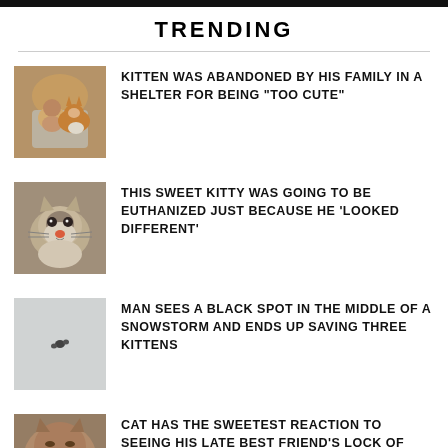TRENDING
KITTEN WAS ABANDONED BY HIS FAMILY IN A SHELTER FOR BEING “TOO CUTE”
THIS SWEET KITTY WAS GOING TO BE EUTHANIZED JUST BECAUSE HE ‘LOOKED DIFFERENT’
MAN SEES A BLACK SPOT IN THE MIDDLE OF A SNOWSTORM AND ENDS UP SAVING THREE KITTENS
CAT HAS THE SWEETEST REACTION TO SEEING HIS LATE BEST FRIEND’S LOCK OF